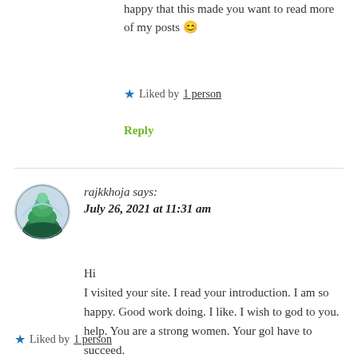happy that this made you want to read more of my posts 😊
★ Liked by 1 person
Reply
rajkkhoja says:
July 26, 2021 at 11:31 am
Hi
I visited your site. I read your introduction. I am so happy. Good work doing. I like. I wish to god to you. help. You are a strong women. Your gol have to succeed.
★ Liked by 1 person